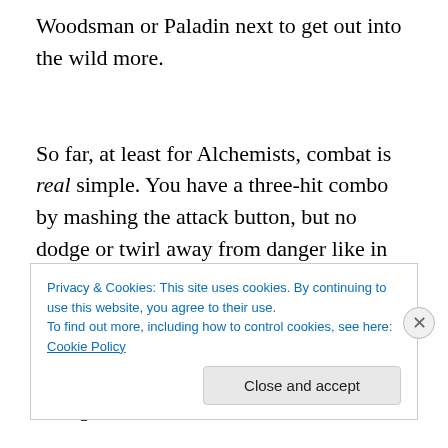Woodsman or Paladin next to get out into the wild more. So far, at least for Alchemists, combat is real simple. You have a three-hit combo by mashing the attack button, but no dodge or twirl away from danger like in Disney Magical Castle's dungeons, which often leads to getting stuck in the combo animation and taking a few hits from enemies. I found it works well enough to hit twice, back off,
Privacy & Cookies: This site uses cookies. By continuing to use this website, you agree to their use. To find out more, including how to control cookies, see here: Cookie Policy
Close and accept